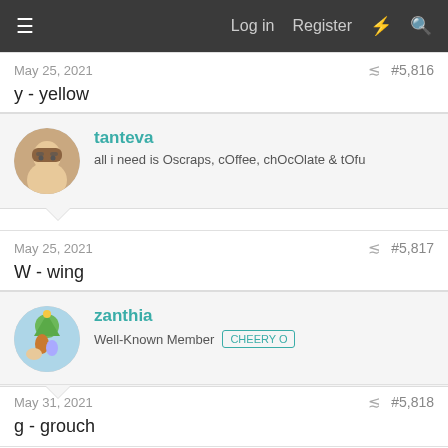Log in  Register
May 25, 2021  #5,816
y - yellow
tanteva
all i need is Oscraps, cOffee, chOcOlate & tOfu
May 25, 2021  #5,817
W - wing
zanthia
Well-Known Member  CHEERY O
May 31, 2021  #5,818
g - grouch